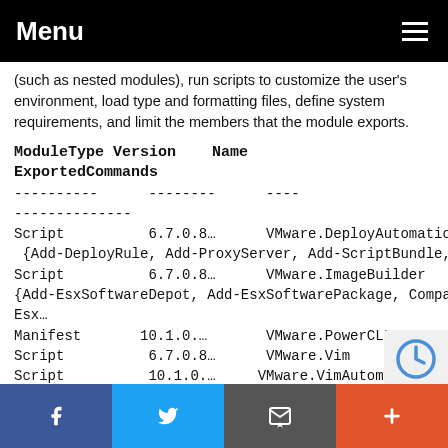Menu
(such as nested modules), run scripts to customize the user's environment, load type and formatting files, define system requirements, and limit the members that the module exports.
| ModuleType | Version | Name | ExportedCommands |
| --- | --- | --- | --- |
| ---------- | -------- | ---- | -- |
|  |  |  | -------------- |
| Script | 6.7.0.8… | VMware.DeployAutomation | {Add-DeployRule, Add-ProxyServer, Add-ScriptBundle, Copy-D… |
| Script | 6.7.0.8… | VMware.ImageBuilder | {Add-EsxSoftwareDepot, Add-EsxSoftwarePackage, Compare-Esx… |
| Manifest | 10.1.0.… | VMware.PowerCLI |  |
| Script | 6.7.0.8… | VMware.Vim |  |
| Script | 10.1.0.… | VMware.VimAutomation.Cis.Core |  |